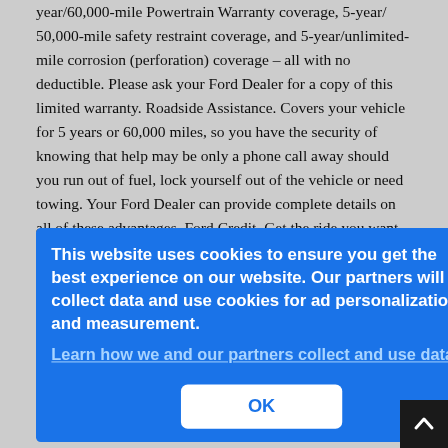year/60,000-mile Powertrain Warranty coverage, 5-year/ 50,000-mile safety restraint coverage, and 5-year/unlimited-mile corrosion (perforation) coverage – all with no deductible. Please ask your Ford Dealer for a copy of this limited warranty. Roadside Assistance. Covers your vehicle for 5 years or 60,000 miles, so you have the security of knowing that help may be only a phone call away should you run out of fuel, lock yourself out of the vehicle or need towing. Your Ford Dealer can provide complete details on all of these advantages. Ford Credit. Get the ride you want. Whether you plan to lease or finance, you'll find the choices that are right for you at Ford Credit. Ask your Ford Dealer for [...]an. [...] res [...] sk [...] sively [...] ance [...] Our [...] 1- [...] a
Ford Motor Company. Comparisons based on 2010 competitive models
[Figure (screenshot): Cookie consent overlay dialog with blue background. Text reads: 'This website uses cookies to ensure you get the best experience on our website. Our partners will collect data and use cookies for ad personalization and measurement.' with a link 'Learn how we and our partners collect and use data.' and an OK button below.]